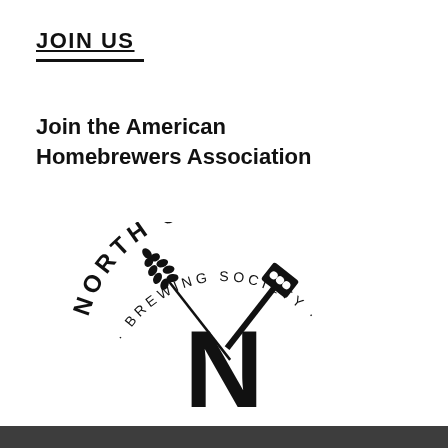JOIN US
Join the American Homebrewers Association
[Figure (logo): North Urban Brewing Society logo featuring arched text 'NORTH URBAN' at top, 'BREWING SOCIETY' below, with a large letter N in the center crossed by a wheat stalk and a brewing paddle/mash paddle forming an X shape behind the N, all in black on white background. A dark grey/charcoal bar appears at the bottom.]